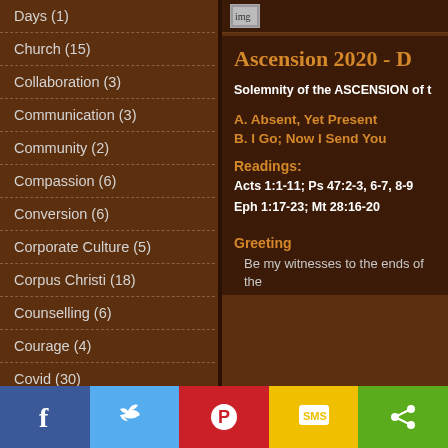Days (1)
Church (15)
Collaboration (3)
Communication (3)
Community (2)
Compassion (6)
Conversion (6)
Corporate Culture (5)
Corpus Christi (18)
Counselling (6)
Courage (4)
Covid (30)
Crazy Videos (1)
Creativity (8)
Ascension 2020 - D
Solemnity of the ASCENSION of t
A. Absent, Yet Present
B. I Go; Now I Send You
Readings:
Acts 1:1-11; Ps 47:2-3, 6-7, 8-9
Eph 1:17-23; Mt 28:16-20
Greeting
Be my witnesses to the ends of the
Facebook Twitter Pinterest SMS Share